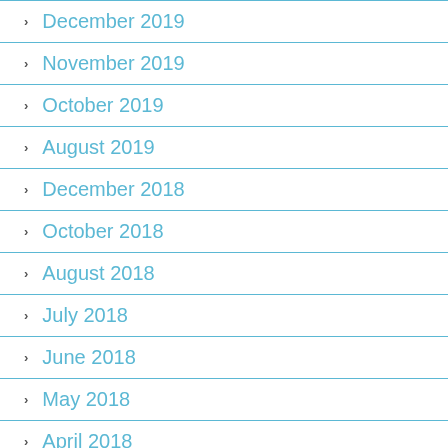December 2019
November 2019
October 2019
August 2019
December 2018
October 2018
August 2018
July 2018
June 2018
May 2018
April 2018